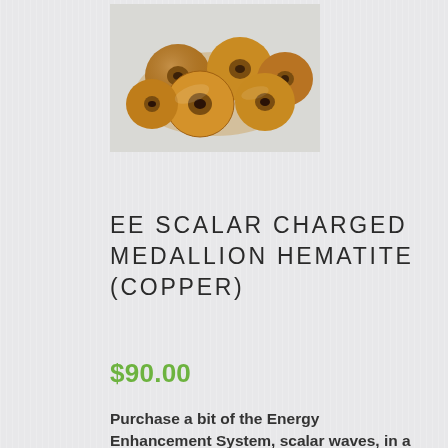[Figure (photo): Photo of copper-colored hematite medallion coins/discs piled together on a white background]
EE SCALAR CHARGED MEDALLION HEMATITE (COPPER)
$90.00
Purchase a bit of the Energy Enhancement System, scalar waves, in a ‘to-go’ form!
Each EE Medallion is charged with scalar waves so that you can bring the benefits of the Energy Enhancement